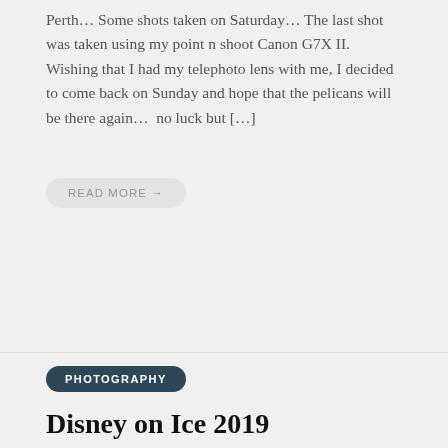Perth… Some shots taken on Saturday… The last shot was taken using my point n shoot Canon G7X II. Wishing that I had my telephoto lens with me, I decided to come back on Sunday and hope that the pelicans will be there again… no luck but […]
READ MORE →
PHOTOGRAPHY
Disney on Ice 2019
[Figure (photo): Disney on Ice 2019 show photo featuring Minnie Mouse in red polka dot dress and Mickey Mouse on an ice rink stage with blue lighting and scaffolding backdrop, with audience silhouettes in foreground.]